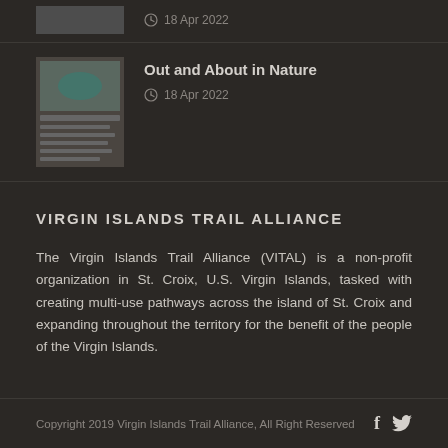18 Apr 2022
[Figure (photo): Thumbnail image of Out and About in Nature article]
Out and About in Nature
18 Apr 2022
VIRGIN ISLANDS TRAIL ALLIANCE
The Virgin Islands Trail Alliance (VITAL) is a non-profit organization in St. Croix, U.S. Virgin Islands, tasked with creating multi-use pathways across the island of St. Croix and expanding throughout the territory for the benefit of the people of the Virgin Islands.
Copyright 2019 Virgin Islands Trail Alliance, All Right Reserved